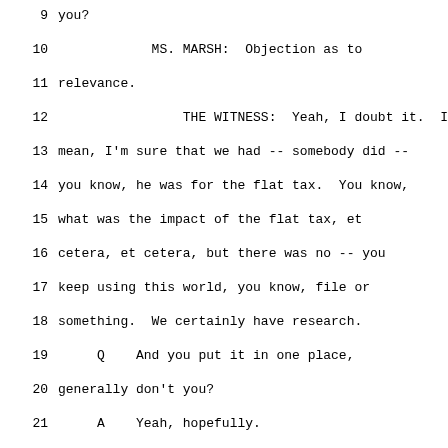9    you?
10              MS. MARSH:  Objection as to
11    relevance.
12                  THE WITNESS:  Yeah, I doubt it.  I
13    mean, I'm sure that we had -- somebody did --
14    you know, he was for the flat tax.  You know,
15    what was the impact of the flat tax, et
16    cetera, et cetera, but there was no -- you
17    keep using this world, you know, file or
18    something.  We certainly have research.
19         Q    And you put it in one place,
20    generally don't you?
21         A    Yeah, hopefully.
22         Q    And you put that in a file, right?